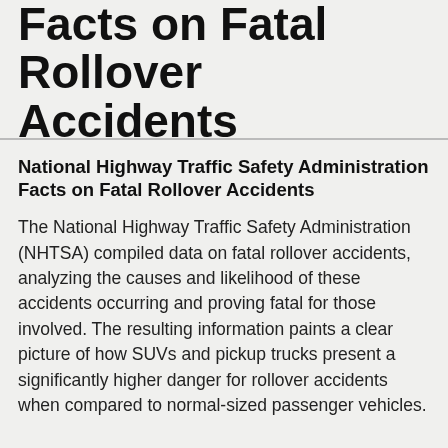Facts on Fatal Rollover Accidents
National Highway Traffic Safety Administration Facts on Fatal Rollover Accidents
The National Highway Traffic Safety Administration (NHTSA) compiled data on fatal rollover accidents, analyzing the causes and likelihood of these accidents occurring and proving fatal for those involved. The resulting information paints a clear picture of how SUVs and pickup trucks present a significantly higher danger for rollover accidents when compared to normal-sized passenger vehicles.